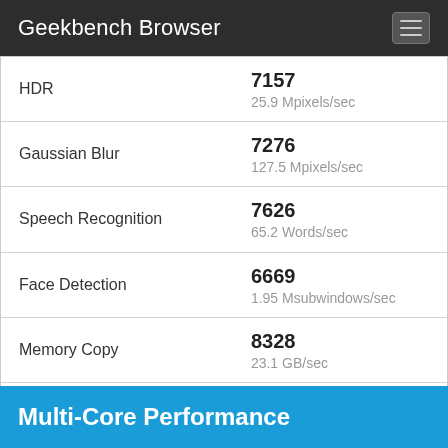Geekbench Browser
| Benchmark | Score | Unit |
| --- | --- | --- |
| HDR | 7157 | 25.9 Mpixels/sec |
| Gaussian Blur | 7276 | 127.5 Mpixels/sec |
| Speech Recognition | 7626 | 65.2 Words/sec |
| Face Detection | 6669 | 1.95 Msubwindows/sec |
| Memory Copy | 8328 | 23.1 GB/sec |
| Memory Latency | 11069 | 39.1 ns |
| Memory Bandwidth | 7766 | 41.5 GB/sec |
Multi-Core Performance